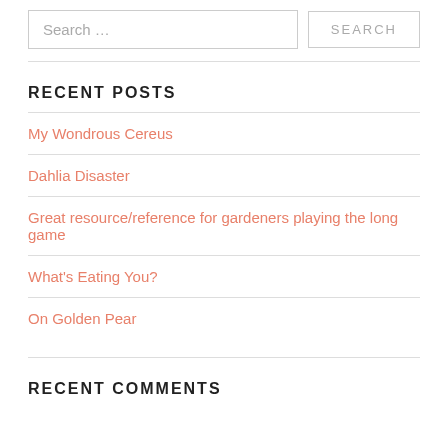Search …
RECENT POSTS
My Wondrous Cereus
Dahlia Disaster
Great resource/reference for gardeners playing the long game
What's Eating You?
On Golden Pear
RECENT COMMENTS